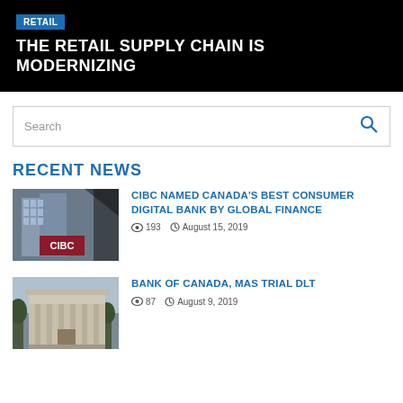RETAIL
THE RETAIL SUPPLY CHAIN IS MODERNIZING
Search
RECENT NEWS
[Figure (photo): CIBC bank building exterior photo]
CIBC NAMED CANADA'S BEST CONSUMER DIGITAL BANK BY GLOBAL FINANCE
193  August 15, 2019
[Figure (photo): Bank of Canada building exterior photo]
BANK OF CANADA, MAS TRIAL DLT
87  August 9, 2019